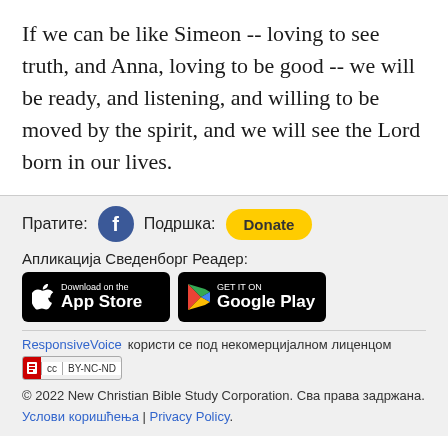If we can be like Simeon -- loving to see truth, and Anna, loving to be good -- we will be ready, and listening, and willing to be moved by the spirit, and we will see the Lord born in our lives.
Пратите: [Facebook] Подршка: [Donate]
Апликација Сведенборг Реадер:
[Figure (logo): App Store and Google Play download badges]
ResponsiveVoice користи се под некомерцијалном лиценцом [CC BY-NC-ND badge]
© 2022 New Christian Bible Study Corporation. Сва права задржана. Услови коришћења | Privacy Policy.